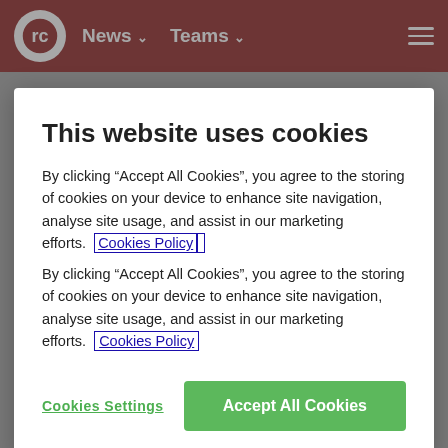News  Teams
This website uses cookies
By clicking “Accept All Cookies”, you agree to the storing of cookies on your device to enhance site navigation, analyse site usage, and assist in our marketing efforts. Cookies Policy
Cookies Settings
Accept All Cookies
As well as celebrating men who have a positive impact on the town, it’s the perfect chance to meet new people. By opening up and sharing experiences, we can help tackle social isolation and improve mental health across the town.”
In the lead up to the event, we would like to encourage everyone to nominate the male they think has created the greatest impact on the local community over the last